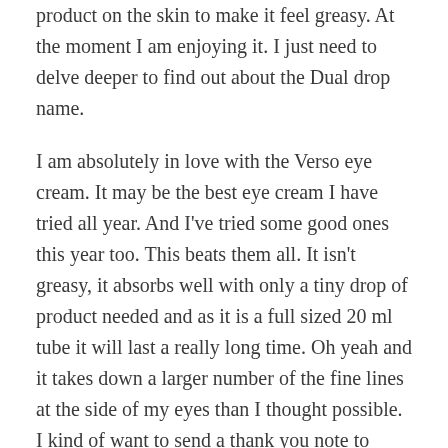product on the skin to make it feel greasy. At the moment I am enjoying it. I just need to delve deeper to find out about the Dual drop name.
I am absolutely in love with the Verso eye cream. It may be the best eye cream I have tried all year. And I've tried some good ones this year too. This beats them all. It isn't greasy, it absorbs well with only a tiny drop of product needed and as it is a full sized 20 ml tube it will last a really long time. Oh yeah and it takes down a larger number of the fine lines at the side of my eyes than I thought possible. I kind of want to send a thank you note to Stockholm. I'm sure companies have received stranger things in the mail, but really. I'm kind of in love with this cream.